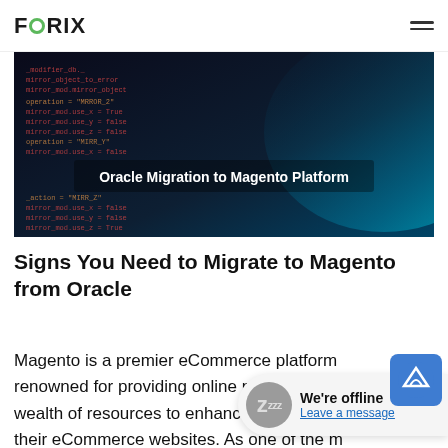FORIX
[Figure (photo): Dark background with code/scripting text overlaid, and centered white text reading 'Oracle Migration to Magento Platform']
Signs You Need to Migrate to Magento from Oracle
Magento is a premier eCommerce platform renowned for providing online merchants with a wealth of resources to enhance the profitability of their eCommerce websites. As one of the most scalable solutions on the market, it is highly adaptable and can be adjusted easily to